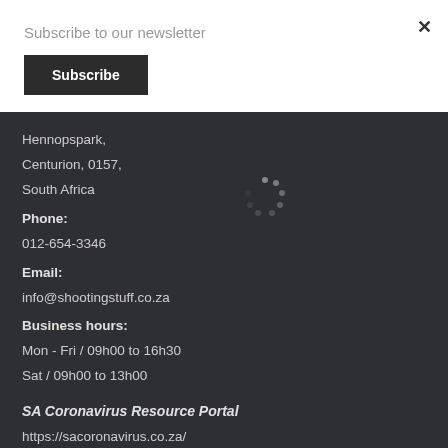Subscribe to our newsletter
Subscribe
×
Hennopspark,
Centurion, 0157,
South Africa
Phone:
012-654-3346
Email:
info@shootingstuff.co.za
Business hours:
Mon - Fri / 09h00 to 16h30
Sat / 09h00 to 13h00
SA Coronavirus Resource Portal
https://sacoronavirus.co.za/